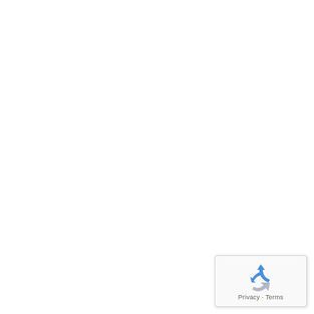gnised in Queen's BirthdayHo
[Figure (other): reCAPTCHA widget with recycling arrows logo and 'Privacy - Terms' text]